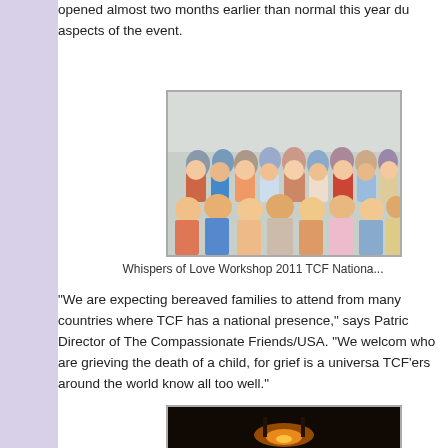opened almost two months earlier than normal this year du aspects of the event.
[Figure (photo): A crowd of people seated in a conference/workshop room, attending the Whispers of Love Workshop at the 2011 TCF National conference.]
Whispers of Love Workshop 2011 TCF Nationa...
“We are expecting bereaved families to attend from many countries where TCF has a national presence,” says Patric Director of The Compassionate Friends/USA. “We welcom who are grieving the death of a child, for grief is a universa TCF’ers around the world know all too well.”
[Figure (photo): A partially visible photo at the bottom of the page, showing a dark scene with warm orange/amber light.]